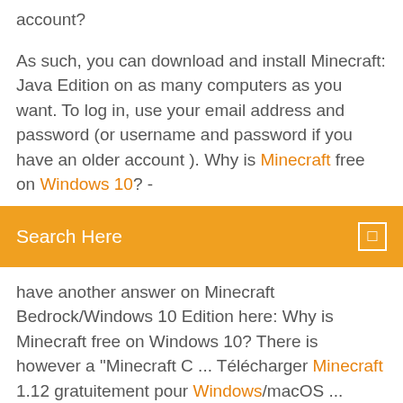account?
As such, you can download and install Minecraft: Java Edition on as many computers as you want. To log in, use your email address and password (or username and password if you have an older account ). Why is Minecraft free on Windows 10? -
Search Here
have another answer on Minecraft Bedrock/Windows 10 Edition here: Why is Minecraft free on Windows 10? There is however a "Minecraft C ... Télécharger Minecraft 1.12 gratuitement pour Windows/macOS ... Minecraft est un jeu vidéo pour PC et Mac totalement innovant et prenant, malgré son look pixélisé, qui vous place dans un monde unique créé aléatoirement et ...
AVOIR MINECRAFT JAVA GRATUITEMENT !!! ~ Minecraft Java: Tuto ... 🎮 On se retrouve aujourd'hui pour une vidéo sur comment cracker Minecraft : Java, en avant également des